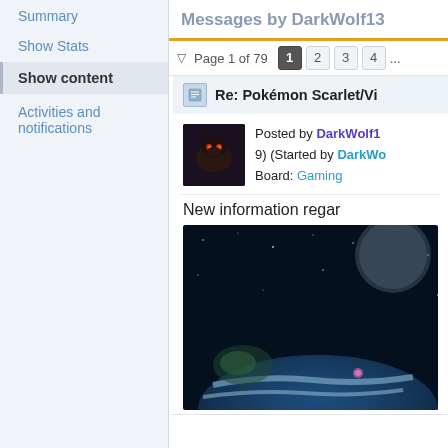Summary
Show Stats
Show content
Activities and notifications
Messages by DarkWolf13
Page 1 of 79   1  2  3  4  ...
Re: Pokémon Scarlet/Vi
Posted by DarkWolf1 9) (Started by DarkWo Board: Gaming
New information regar
[Figure (photo): Dark space scene with planet Earth visible at bottom, dark background with stars]